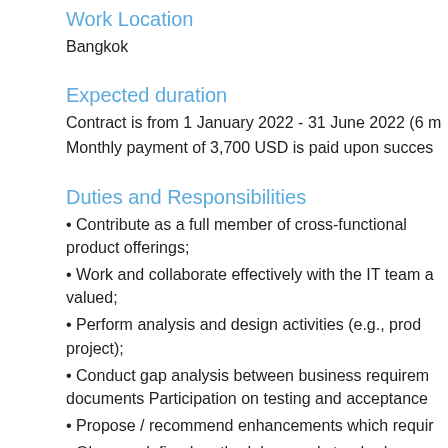Work Location
Bangkok
Expected duration
Contract is from 1 January 2022 - 31 June 2022 (6 m
Monthly payment of 3,700 USD is paid upon succes
Duties and Responsibilities
• Contribute as a full member of cross-functional product offerings;
• Work and collaborate effectively with the IT team a valued;
• Perform analysis and design activities (e.g., prod project);
• Conduct gap analysis between business requirem documents Participation on testing and acceptance
• Propose / recommend enhancements which requir
• Observe defined methodology and standards.
Qualifications/special skills
Academic Qualifications: University degree in comp field.
Experience: • A minimum of 4 years developing